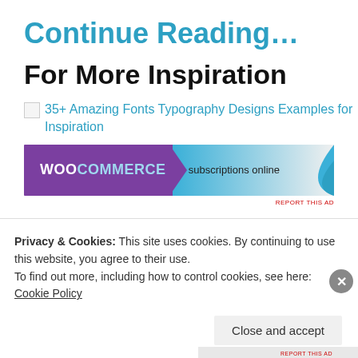Continue Reading...
For More Inspiration
35+ Amazing Fonts Typography Designs Examples for Inspiration
[Figure (screenshot): WooCommerce advertisement banner showing 'WOO COMMERCE subscriptions online' with purple and teal color scheme]
REPORT THIS AD
Privacy & Cookies: This site uses cookies. By continuing to use this website, you agree to their use.
To find out more, including how to control cookies, see here: Cookie Policy
Close and accept